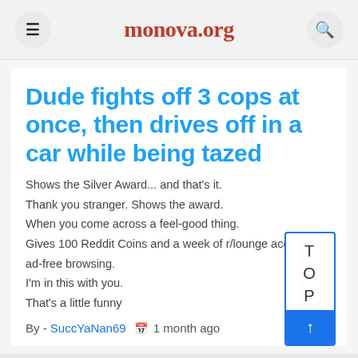monova.org
Dude fights off 3 cops at once, then drives off in a car while being tazed
Shows the Silver Award... and that's it.
Thank you stranger. Shows the award.
When you come across a feel-good thing.
Gives 100 Reddit Coins and a week of r/lounge access and ad-free browsing.
I'm in this with you.
That's a little funny
By - SuccYaNan69   📅 1 month ago